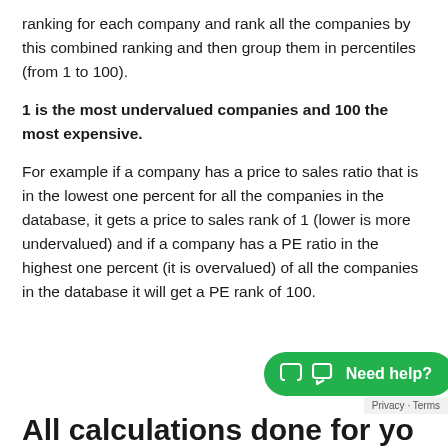ranking for each company and rank all the companies by this combined ranking and then group them in percentiles (from 1 to 100).
1 is the most undervalued companies and 100 the most expensive.
For example if a company has a price to sales ratio that is in the lowest one percent for all the companies in the database, it gets a price to sales rank of 1 (lower is more undervalued) and if a company has a PE ratio in the highest one percent (it is overvalued) of all the companies in the database it will get a PE rank of 100.
All calculations done for yo